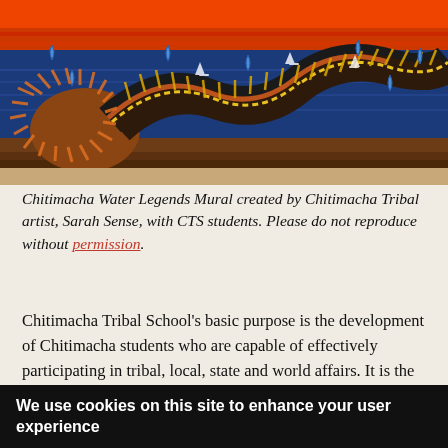[Figure (photo): Photo of the Chitimacha Water Legends Mural — a long painted wooden board featuring a winding serpentine creature with yellow-striped segments on a dark background with blue water droplets, orange/red upper sky, and small white sailboats.]
Chitimacha Water Legends Mural created by Chitimacha Tribal artist, Sarah Sense, with CTS students. Please do not reproduce without permission.
Chitimacha Tribal School's basic purpose is the development of Chitimacha students who are capable of effectively participating in tribal, local, state and world affairs. It is the intention of the Chitimacha Tribal School
We use cookies on this site to enhance your user experience